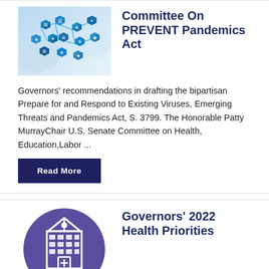[Figure (photo): Blue hexagonal network icons on blurred background representing healthcare technology]
Committee On PREVENT Pandemics Act
Governors' recommendations in drafting the bipartisan Prepare for and Respond to Existing Viruses, Emerging Threats and Pandemics Act, S. 3799. The Honorable Patty MurrayChair U.S. Senate Committee on Health, Education,Labor ...
Read More
[Figure (illustration): White hospital building icon on purple circular background]
Governors' 2022 Health Priorities